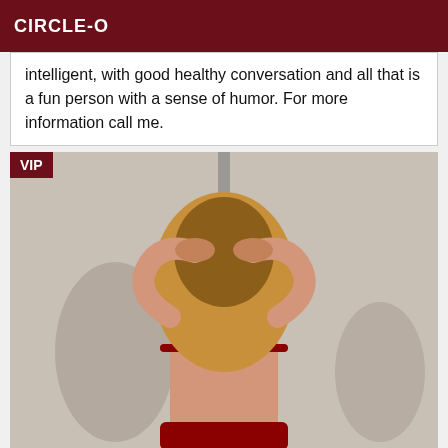CIRCLE-O
intelligent, with good healthy conversation and all that is a fun person with a sense of humor. For more information call me.
[Figure (photo): Person shown from behind wearing red lingerie, with long blonde hair, hands raised behind head, standing near a pole against a neutral wall. VIP badge in top-left corner.]